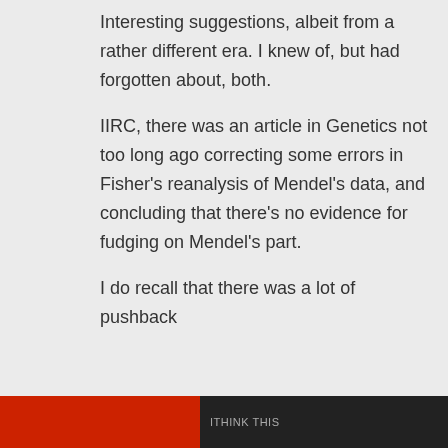Interesting suggestions, albeit from a rather different era. I knew of, but had forgotten about, both.
IIRC, there was an article in Genetics not too long ago correcting some errors in Fisher's reanalysis of Mendel's data, and concluding that there's no evidence for fudging on Mendel's part.
I do recall that there was a lot of pushback
Privacy & Cookies: This site uses cookies. By continuing to use this website, you agree to their use.
To find out more, including how to control cookies, see here: Cookie Policy